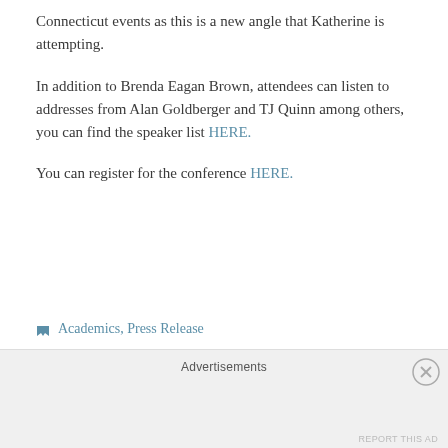Connecticut events as this is a new angle that Katherine is attempting.
In addition to Brenda Eagan Brown, attendees can listen to addresses from Alan Goldberger and TJ Quinn among others, you can find the speaker list HERE.
You can register for the conference HERE.
Academics, Press Release
Katherine Snedaker, PinkConcussions, Return to Learn, SportsCAPP
Advertisements